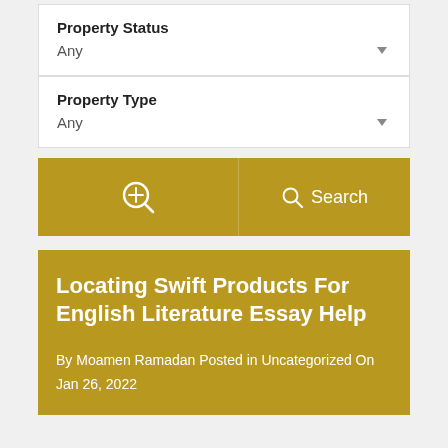Property Status
Any
Property Type
Any
[Figure (screenshot): Search bar with magnifier-plus icon on left and Search button with magnifier icon on right, gold background]
Locating Swift Products For English Literature Essay Help
By Moamen Ramadan Posted in Uncategorized On Jan 26, 2022